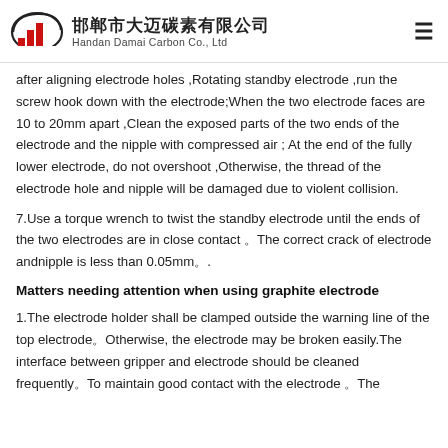邯郸市大迈碳素有限公司 Handan Damai Carbon Co., Ltd
after aligning electrode holes ,Rotating standby electrode ,run the screw hook down with the electrode;When the two electrode faces are 10 to 20mm apart ,Clean the exposed parts of the two ends of the electrode and the nipple with compressed air ; At the end of the fully lower electrode, do not overshoot ,Otherwise, the thread of the electrode hole and nipple will be damaged due to violent collision.
7.Use a torque wrench to twist the standby electrode until the ends of the two electrodes are in close contact 。The correct crack of electrode andnipple is less than 0.05mm。.
Matters needing attention when using graphite electrode
1.The electrode holder shall be clamped outside the warning line of the top electrode。Otherwise, the electrode may be broken easily.The interface between gripper and electrode should be cleaned frequently。To maintain good contact with the electrode 。The